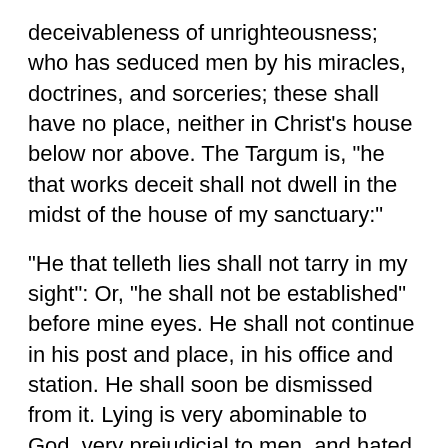deceivableness of unrighteousness; who has seduced men by his miracles, doctrines, and sorceries; these shall have no place, neither in Christ's house below nor above. The Targum is, "he that works deceit shall not dwell in the midst of the house of my sanctuary:"
"He that telleth lies shall not tarry in my sight": Or, "he shall not be established" before mine eyes. He shall not continue in his post and place, in his office and station. He shall soon be dismissed from it. Lying is very abominable to God, very prejudicial to men, and hated by Christ, who is truth itself. All sorts of lies, and liars are so, religious and doctrinal ones. Such who speak lies in hypocrisy, as the emissaries of Rome; all that make an abomination, or a lie, will have no place with Christ in the New